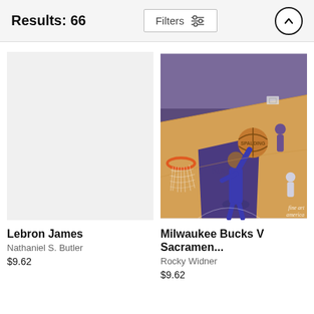Results: 66
Filters
[Figure (photo): Basketball action photo: Milwaukee Bucks vs Sacramento Kings game, player going up for a layup near the basket on a purple Sacramento Kings court, with crowd in background. Fine Art America watermark visible.]
Lebron James
Nathaniel S. Butler
$9.62
Milwaukee Bucks V Sacramen...
Rocky Widner
$9.62